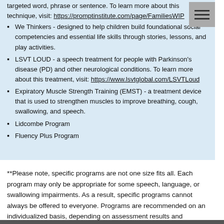structures (jaw, tongue, lips) to manually guide them through a targeted word, phrase or sentence. To learn more about this technique, visit: https://promptinstitute.com/page/FamiliesWIP
We Thinkers - designed to help children build foundational social competencies and essential life skills through stories, lessons, and play activities.
LSVT LOUD - a speech treatment for people with Parkinson's disease (PD) and other neurological conditions. To learn more about this treatment, visit: https://www.lsvtglobal.com/LSVTLoud
Expiratory Muscle Strength Training (EMST) - a treatment device that is used to strengthen muscles to improve breathing, cough, swallowing, and speech.
Lidcombe Program
Fluency Plus Program
**Please note, specific programs are not one size fits all. Each program may only be appropriate for some speech, language, or swallowing impairments. As a result, specific programs cannot always be offered to everyone. Programs are recommended on an individualized basis, depending on assessment results and program specific eligibility criteria.**